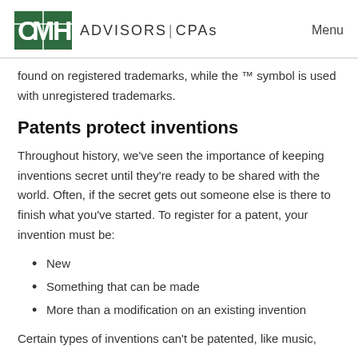CMH ADVISORS | CPAs  Menu
found on registered trademarks, while the ™ symbol is used with unregistered trademarks.
Patents protect inventions
Throughout history, we've seen the importance of keeping inventions secret until they're ready to be shared with the world. Often, if the secret gets out someone else is there to finish what you've started. To register for a patent, your invention must be:
New
Something that can be made
More than a modification on an existing invention
Certain types of inventions can't be patented, like music,